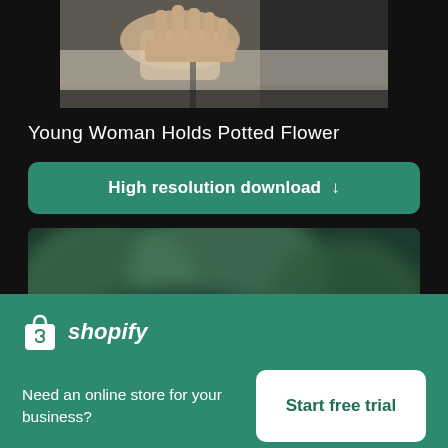[Figure (photo): Cropped photo of hands against dark background, upper portion of a person holding something]
Young Woman Holds Potted Flower
High resolution download ↓
[Figure (photo): Blurred outdoor background with bokeh greenery, partially visible image]
×
[Figure (logo): Shopify logo - shopping bag icon with letter S and Shopify text in italic]
Need an online store for your business?
Start free trial